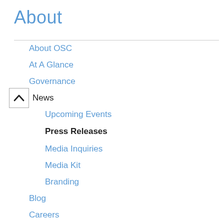About
About OSC
At A Glance
Governance
News
Upcoming Events
Press Releases
Media Inquiries
Media Kit
Branding
Blog
Careers
Leadership
Visit the Ohio Supercomputer Center
Affiliations
By the Numbers